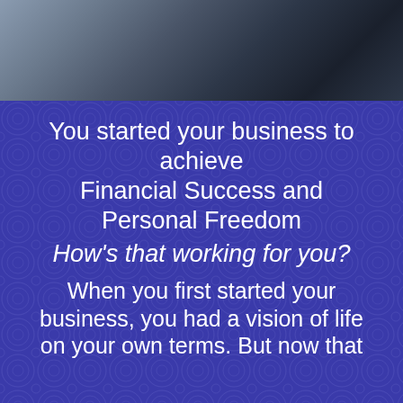[Figure (illustration): Top banner with dark grey gradient background suggesting a decorative header area]
You started your business to achieve Financial Success and Personal Freedom
How's that working for you?
When you first started your business, you had a vision of life on your own terms. But now that